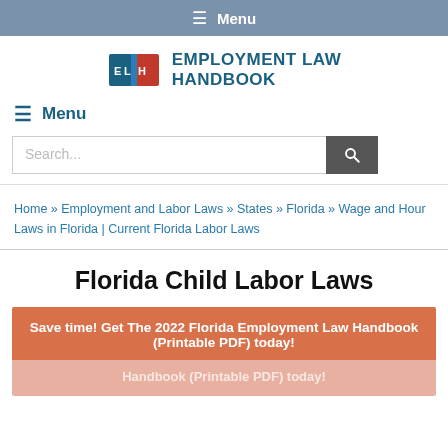≡ Menu
[Figure (logo): Employment Law Handbook logo with ELH book icon and text 'EMPLOYMENT LAW HANDBOOK']
≡ Menu
Search...
Home » Employment and Labor Laws » States » Florida » Wage and Hour Laws in Florida | Current Florida Labor Laws
Florida Child Labor Laws
Save time! Get The 2022 Florida Employment Law Handbook (Printable PDF) today!